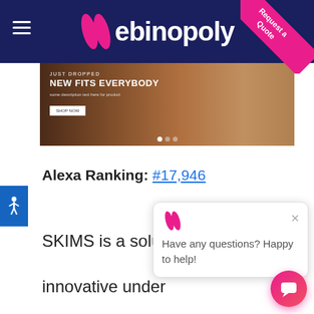[Figure (screenshot): Webinopoly website header with dark navy background, hamburger menu icon on left, Webinopoly logo in center (pink W icon + white text), and a pink diagonal 'Request a Quote' ribbon in the top-right corner.]
[Figure (photo): SKIMS website hero banner showing 'JUST DROPPED NEW FITS EVERYBODY' text overlay on models wearing shapewear in various skin tones, with a 'SHOP NOW' button.]
Alexa Ranking: #17,946
SKIMS is a solution oriented brand creating innovative undergarment, loungewear & shapewear. SKIMS is committed to providing solutions for everybody. Its goal is to continually innovate on the past while also improving our business for the future.
[Figure (screenshot): Chat popup widget showing Webinopoly logo and text 'Have any questions? Happy to help!' with a close X button, and a pink gradient chat bubble button in the bottom right.]